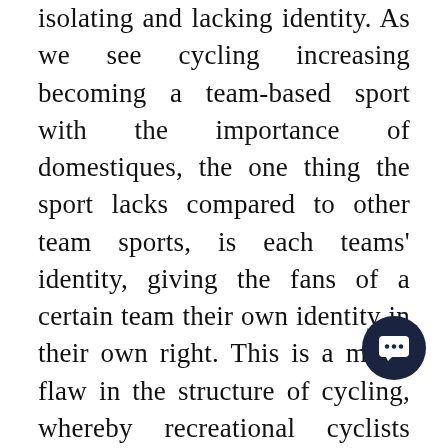isolating and lacking identity. As we see cycling increasing becoming a team-based sport with the importance of domestiques, the one thing the sport lacks compared to other team sports, is each teams' identity, giving the fans of a certain team their own identity in their own right. This is a major flaw in the structure of cycling, whereby recreational cyclists struggle to relate to the billion-pound chemical company INEOS, along with many other companies who sponsor professional teams. When we look at rugby or football, they have the sponsors of the team, but at foundation they will have the club itself for club identity. This the